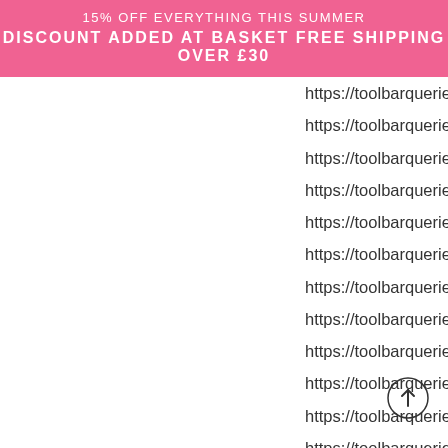15% OFF EVERYTHING THIS SUMMER
DISCOUNT ADDED AT BASKET FREE SHIPPING OVER £30
https://toolbarqueries.google.ga/url?q=
https://toolbarqueries.google.ge/url?q=
https://toolbarqueries.google.gg/url?q=
https://toolbarqueries.google.com.gh/ur
https://toolbarqueries.google.com.gi/ur
https://toolbarqueries.google.gl/url?q=
https://toolbarqueries.google.gm/url?q=
https://toolbarqueries.google.gp/url?q=
https://toolbarqueries.google.gr/url?q=
https://toolbarqueries.google.com.gt/ur
https://toolbarqueries.google.gy/url?q=
https://toolbarqueries.google.com.hk/ur